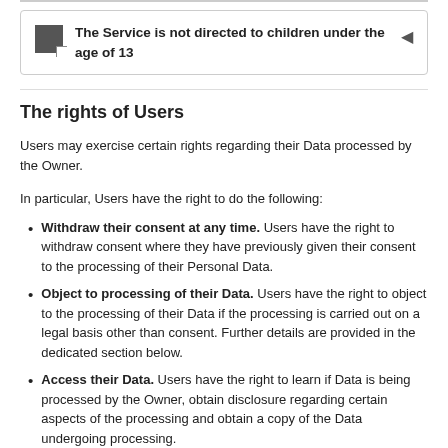The Service is not directed to children under the age of 13
The rights of Users
Users may exercise certain rights regarding their Data processed by the Owner.
In particular, Users have the right to do the following:
Withdraw their consent at any time. Users have the right to withdraw consent where they have previously given their consent to the processing of their Personal Data.
Object to processing of their Data. Users have the right to object to the processing of their Data if the processing is carried out on a legal basis other than consent. Further details are provided in the dedicated section below.
Access their Data. Users have the right to learn if Data is being processed by the Owner, obtain disclosure regarding certain aspects of the processing and obtain a copy of the Data undergoing processing.